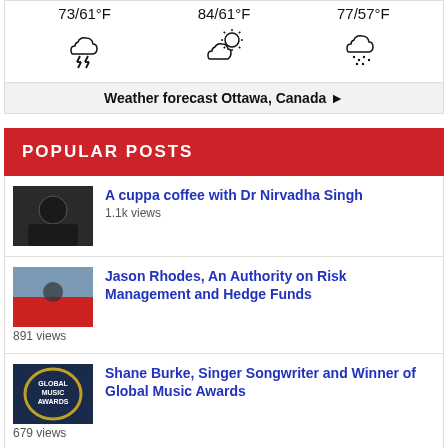[Figure (screenshot): Weather forecast widget showing three columns: 73/61°F with thunderstorm icon, 84/61°F with partly cloudy/sun icon, 77/57°F with rain cloud icon]
Weather forecast Ottawa, Canada ►
POPULAR POSTS
[Figure (photo): Thumbnail of a person in black clothing]
A cuppa coffee with Dr Nirvadha Singh
1.1k views
[Figure (photo): Thumbnail of a person in red clothing outdoors]
Jason Rhodes, An Authority on Risk Management and Hedge Funds
891 views
[Figure (logo): Global Music Awards logo/badge]
Shane Burke, Singer Songwriter and Winner of Global Music Awards
679 views
[Figure (photo): Small thumbnail image with text]
Atlantis Exchange Airdrops $100,000,000 of American Coins for Signups & Referrals